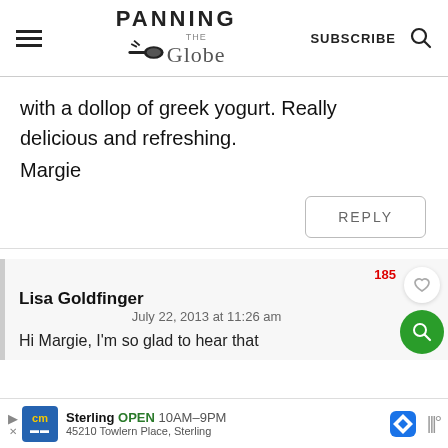Panning The Globe — SUBSCRIBE
with a dollop of greek yogurt. Really delicious and refreshing.
Margie
REPLY
Lisa Goldfinger
July 22, 2013 at 11:26 am
Hi Margie, I'm so glad to hear that
Sterling OPEN 10AM–9PM 45210 Towlern Place, Sterling